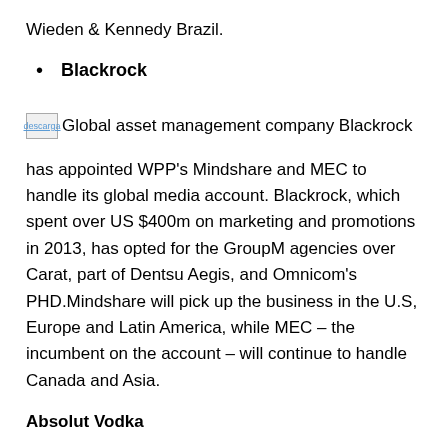Wieden & Kennedy Brazil.
Blackrock
[Figure (photo): Small broken/placeholder image icon labeled 'descarga' followed by text: Global asset management company Blackrock]
has appointed WPP's Mindshare and MEC to handle its global media account. Blackrock, which spent over US $400m on marketing and promotions in 2013, has opted for the GroupM agencies over Carat, part of Dentsu Aegis, and Omnicom's PHD.Mindshare will pick up the business in the U.S, Europe and Latin America, while MEC – the incumbent on the account – will continue to handle Canada and Asia.
Absolut Vodka